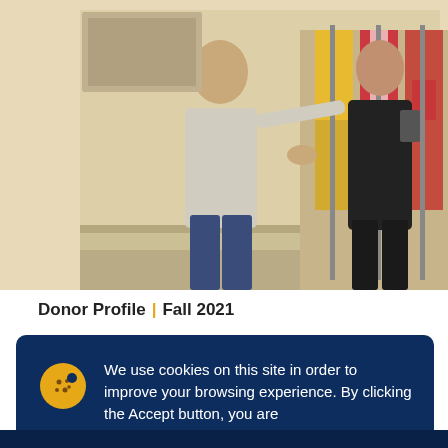[Figure (photo): Two people standing in front of a row of flags in an indoor venue. A man in light shirt and jeans on the left, a woman in black outfit on the right, appearing to shake hands or exchange something.]
Donor Profile | Fall 2021
We use cookies on this site in order to improve your browsing experience. By clicking the Accept button, you are agreeing to the use of cookies outlined in our Digital Privacy Statement
Accept